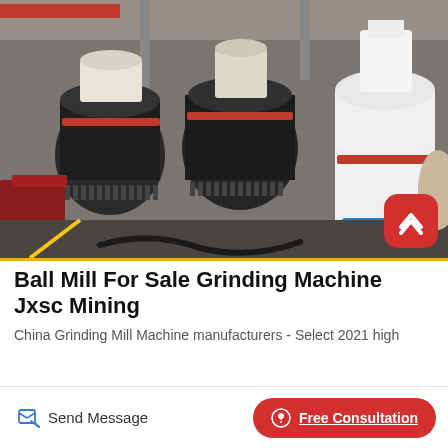[Figure (photo): Industrial grinding mill machines (ball mills / Raymond mills) inside a large factory/warehouse. Multiple cylindrical grinding machines visible — dark and white colored, with red accent rings. A worker in blue uniform crouches near the machines. Red metal chutes on the left, blue metal frame on the right. Red crane beam visible overhead. Factory interior with concrete pillars.]
Ball Mill For Sale Grinding Machine Jxsc Mining
China Grinding Mill Machine manufacturers - Select 2021 high
Send Message
Free Consultation